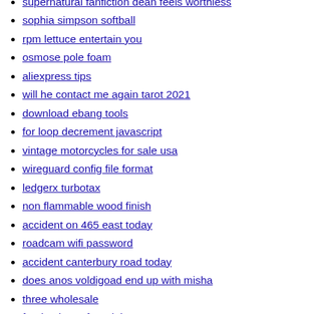supernatural fanfiction dean feels worthless
sophia simpson softball
rpm lettuce entertain you
osmose pole foam
aliexpress tips
will he contact me again tarot 2021
download ebang tools
for loop decrement javascript
vintage motorcycles for sale usa
wireguard config file format
ledgerx turbotax
non flammable wood finish
accident on 465 east today
roadcam wifi password
accident canterbury road today
does anos voldigoad end up with misha
three wholesale
food quizzes for adults
vrchat quest avatar download
apn settings for tracfone
why do i poop so much reddit
animators looking for writers
clark c500 parts manual pdf
bsgg calculator
stage 3 fire restrictions
smart tv club playlist download